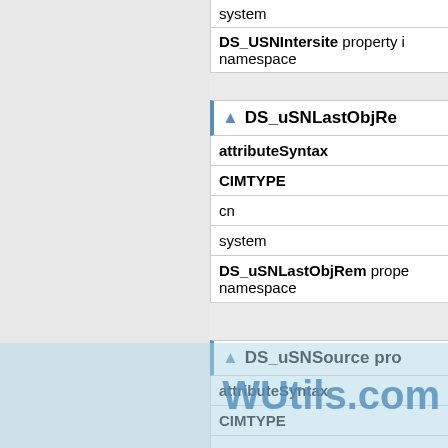| system |
| DS_USNIntersite property i namespace |
| ▲ DS_uSNLastObjRe |
| --- |
| attributeSyntax |
| CIMTYPE |
| cn |
| system |
| DS_uSNLastObjRem prope namespace |
| ▲ DS_uSNSource pro |
| --- |
| attributeSyntax |
| CIMTYPE |
| cn |
| system |
| D... property... namespace |